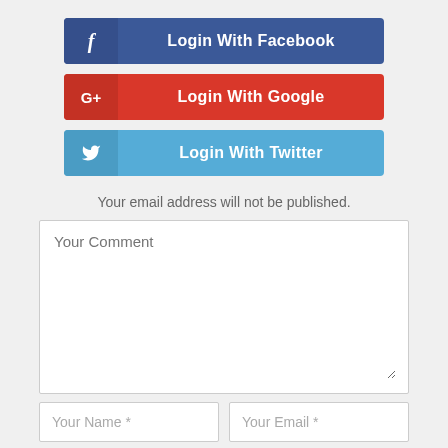[Figure (screenshot): Login with Facebook button (dark blue with Facebook f icon)]
[Figure (screenshot): Login with Google button (red with G+ icon)]
[Figure (screenshot): Login with Twitter button (light blue with Twitter bird icon)]
Your email address will not be published.
[Figure (screenshot): Comment form with Your Comment textarea, Your Name, Your Email, and Your Website fields, plus a green scroll-to-top button]